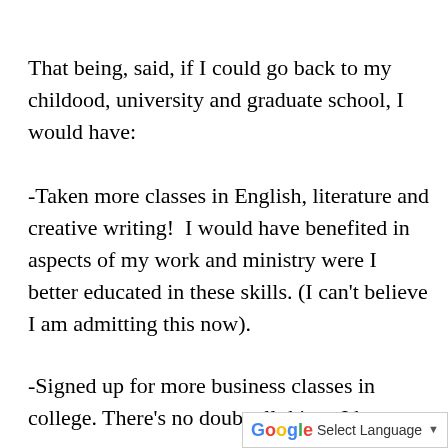That being, said, if I could go back to my childood, university and graduate school, I would have:
-Taken more classes in English, literature and creative writing!  I would have benefited in aspects of my work and ministry were I better educated in these skills. (I can't believe I am admitting this now).
-Signed up for more business classes in college. There's no doubt all things I ha